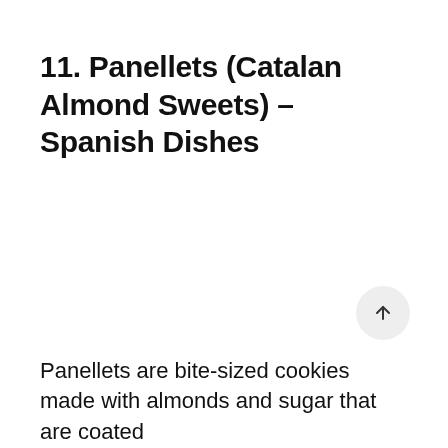11. Panellets (Catalan Almond Sweets) – Spanish Dishes
[Figure (other): Scroll-to-top button: circular grey button with an upward arrow icon]
Panellets are bite-sized cookies made with almonds and sugar that are coated